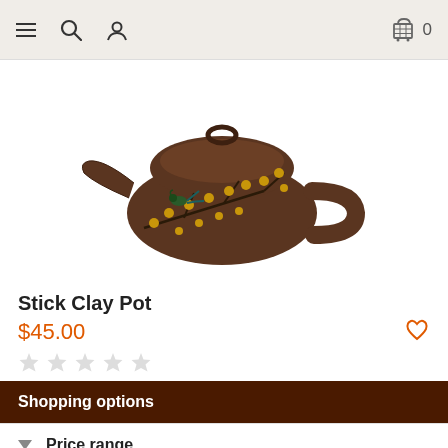Navigation bar with hamburger menu, search, user and cart icons (0 items)
[Figure (photo): A dark brown clay teapot (Yixing style) decorated with yellow plum blossoms and a bird painted on the surface, with a rounded lid and loop handle.]
Stick Clay Pot
$45.00
★★★★★ (empty stars rating)
Shopping options
Price range